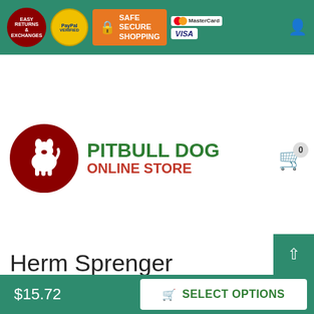Easy Returns & Exchanges | PayPal Verified | Safe Secure Shopping | MasterCard | VISA
[Figure (logo): Pitbull Dog Online Store logo with red circle containing white dog silhouette]
PITBULL DOG ONLINE STORE
MENU
Chain/Prong Collars
Herm Sprenger Chrome Plated Chain Training Collar for Pitbull
7 others have looked at this page today.
Herm Sprenger Chrome Plated Chain Training Colla
$15.72  SELECT OPTIONS